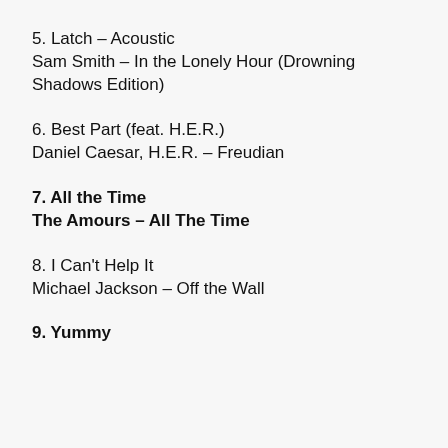5. Latch – Acoustic
Sam Smith – In the Lonely Hour (Drowning Shadows Edition)
6. Best Part (feat. H.E.R.)
Daniel Caesar, H.E.R. – Freudian
7. All the Time
The Amours – All The Time
8. I Can't Help It
Michael Jackson – Off the Wall
9. Yummy